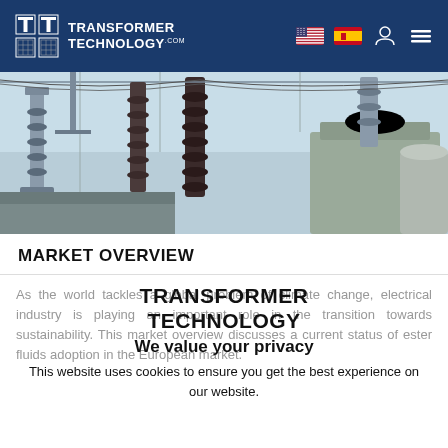TRANSFORMER TECHNOLOGY
[Figure (photo): Electrical transformer substation equipment — high-voltage insulators, bushings, and transformer tanks photographed from below against a light sky. Industrial electrical infrastructure.]
MARKET OVERVIEW
TRANSFORMER TECHNOLOGY
We value your privacy
As the world tackles a global problem of climate change, electrical industry is playing an important role in the transition towards sustainability. This market overview discusses a current status of ester fluids adoption in the European market.
This website uses cookies to ensure you get the best experience on our website.